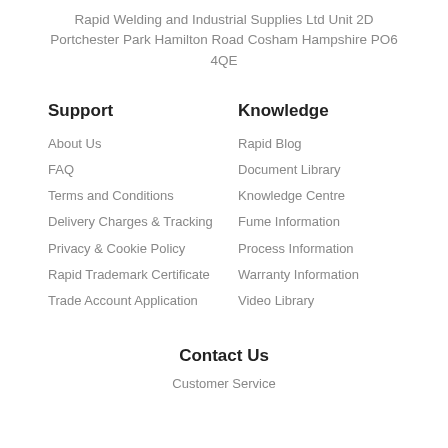Rapid Welding and Industrial Supplies Ltd Unit 2D Portchester Park Hamilton Road Cosham Hampshire PO6 4QE
Support
About Us
FAQ
Terms and Conditions
Delivery Charges & Tracking
Privacy & Cookie Policy
Rapid Trademark Certificate
Trade Account Application
Knowledge
Rapid Blog
Document Library
Knowledge Centre
Fume Information
Process Information
Warranty Information
Video Library
Contact Us
Customer Service